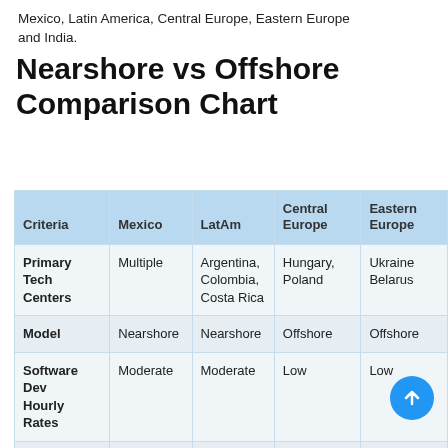Mexico, Latin America, Central Europe, Eastern Europe and India.
Nearshore vs Offshore Comparison Chart
| Criteria | Mexico | LatAm | Central Europe | Eastern Europe |
| --- | --- | --- | --- | --- |
| Primary Tech Centers | Multiple | Argentina, Colombia, Costa Rica | Hungary, Poland | Ukraine Belarus |
| Model | Nearshore | Nearshore | Offshore | Offshore |
| Software Dev Hourly Rates | Moderate | Moderate | Low | Low |
| Time Zone |  |  |  |  |